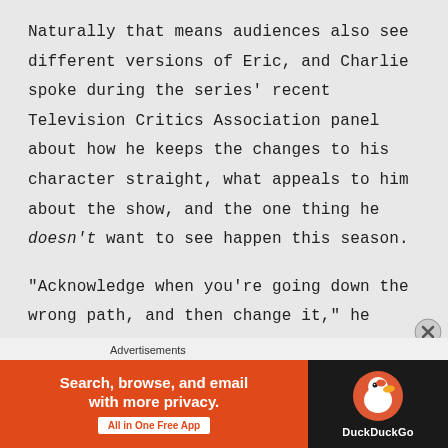Naturally that means audiences also see different versions of Eric, and Charlie spoke during the series' recent Television Critics Association panel about how he keeps the changes to his character straight, what appeals to him about the show, and the one thing he doesn't want to see happen this season.
“Acknowledge when you’re going down the wrong path, and then change it,” he said, discussing the show’s premise of
[Figure (other): DuckDuckGo advertisement banner: orange left side with white text 'Search, browse, and email with more privacy. All in One Free App' and dark right side with DuckDuckGo duck logo and DuckDuckGo text]